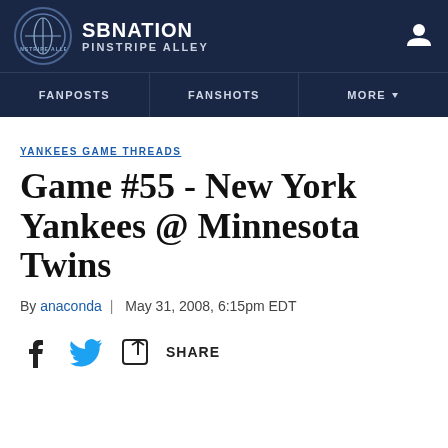SB NATION | PINSTRIPE ALLEY
FANPOSTS | FANSHOTS | MORE
YANKEES GAME THREADS
Game #55 - New York Yankees @ Minnesota Twins
By anaconda | May 31, 2008, 6:15pm EDT